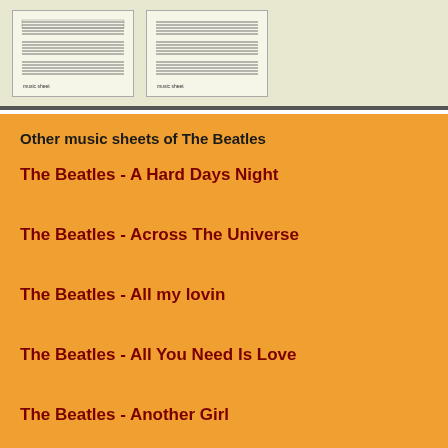[Figure (illustration): Two thumbnail images of music sheet pages with staff lines and notes on a light beige background]
Other music sheets of The Beatles
The Beatles - A Hard Days Night
The Beatles - Across The Universe
The Beatles - All my lovin
The Beatles - All You Need Is Love
The Beatles - Another Girl